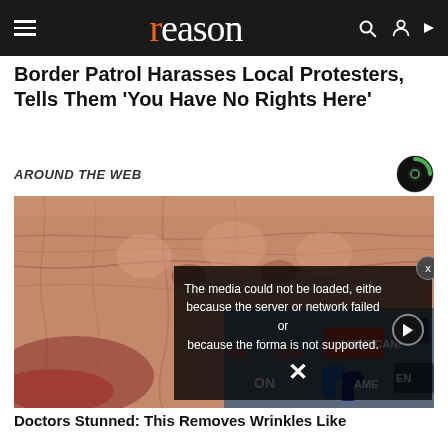reason
Border Patrol Harasses Local Protesters, Tells Them 'You Have No Rights Here'
AROUND THE WEB
[Figure (photo): Close-up photograph of wrinkled skin on an elderly person's hand or face, with a video player overlay showing error message: 'The media could not be loaded, either because the server or network failed or because the format is not supported.' A partial protest scene with signs reading 'AMERICAN!' is visible in the lower right.]
Doctors Stunned: This Removes Wrinkles Like